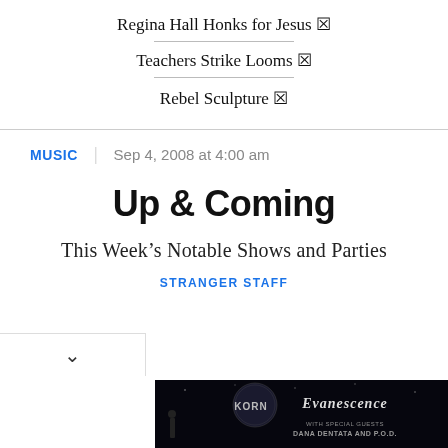Regina Hall Honks for Jesus ☒
Teachers Strike Looms ☒
Rebel Sculpture ☒
MUSIC  |  Sep 4, 2008 at 4:00 am
Up & Coming
This Week's Notable Shows and Parties
STRANGER STAFF
[Figure (photo): Advertisement banner for Korn and Evanescence concert with dark background showing silhouette and moon imagery]